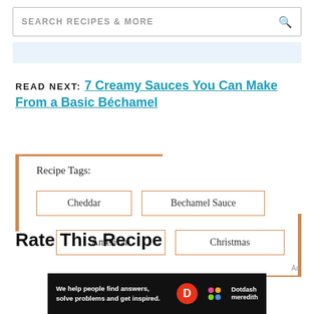SEARCH RECIPES & MORE
READ NEXT: 7 Creamy Sauces You Can Make From a Basic Béchamel
Recipe Tags:
Cheddar
Bechamel Sauce
American
Christmas
Rate This Recipe
[Figure (other): Dotdash Meredith advertisement banner: 'We help people find answers, solve problems and get inspired.']